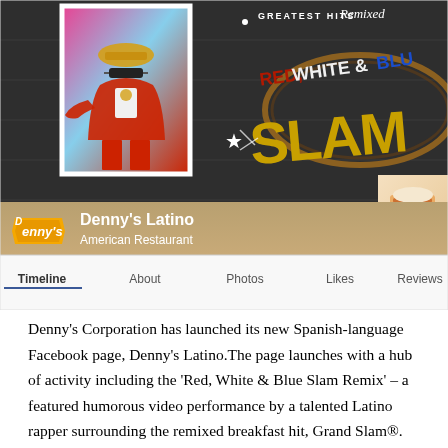[Figure (screenshot): Screenshot of Denny's Latino Facebook page showing a chalkboard-themed cover photo with a Latino rapper, 'Greatest Hits Remixed', 'Red, White & Blue Slam' branding, Denny's logo, profile name 'Denny's Latino', category 'American Restaurant', and navigation tabs: Timeline, About, Photos, Likes, Reviews]
Denny's Corporation has launched its new Spanish-language Facebook page, Denny's Latino.The page launches with a hub of activity including the 'Red, White & Blue Slam Remix' – a featured humorous video performance by a talented Latino rapper surrounding the remixed breakfast hit, Grand Slam®. Denny's loyal